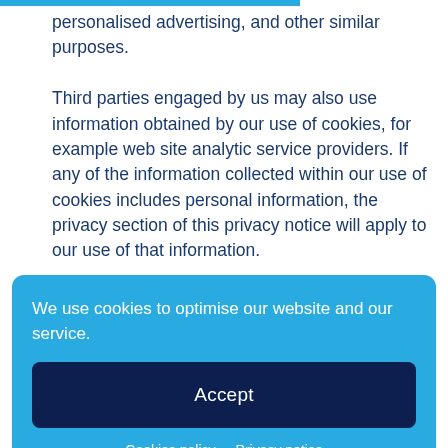personalised advertising, and other similar purposes.

Third parties engaged by us may also use information obtained by our use of cookies, for example web site analytic service providers. If any of the information collected within our use of cookies includes personal information, the privacy section of this privacy notice will apply to our use of that information.

If you do not accept our use of cookies as set out...

However, this may limit the functions and features of our web site that are available for your use, and result in sub-optimal
We use cookies to optimise our website and our service.
Accept
Cookies policy   Privacy notice